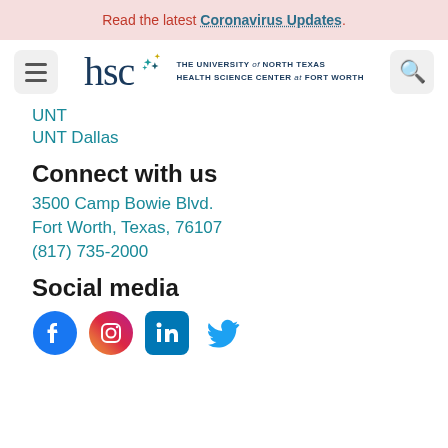Read the latest Coronavirus Updates.
[Figure (logo): HSC - The University of North Texas Health Science Center at Fort Worth logo with hamburger menu and search icon]
UNT
UNT Dallas
Connect with us
3500 Camp Bowie Blvd.
Fort Worth, Texas, 76107
(817) 735-2000
Social media
[Figure (illustration): Social media icons: Facebook, Instagram, LinkedIn, Twitter]